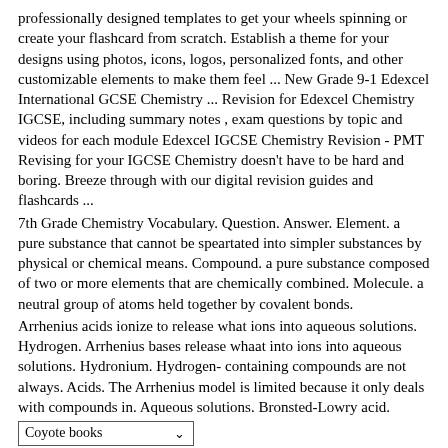professionally designed templates to get your wheels spinning or create your flashcard from scratch. Establish a theme for your designs using photos, icons, logos, personalized fonts, and other customizable elements to make them feel ... New Grade 9-1 Edexcel International GCSE Chemistry ... Revision for Edexcel Chemistry IGCSE, including summary notes , exam questions by topic and videos for each module Edexcel IGCSE Chemistry Revision - PMT Revising for your IGCSE Chemistry doesn't have to be hard and boring. Breeze through with our digital revision guides and flashcards ...
7th Grade Chemistry Vocabulary. Question. Answer. Element. a pure substance that cannot be speartated into simpler substances by physical or chemical means. Compound. a pure substance composed of two or more elements that are chemically combined. Molecule. a neutral group of atoms held together by covalent bonds.
Arrhenius acids ionize to release what ions into aqueous solutions. Hydrogen. Arrhenius bases release whaat into ions into aqueous solutions. Hydronium. Hydrogen- containing compounds are not always. Acids. The Arrhenius model is limited because it only deals with compounds in. Aqueous solutions. Bronsted-Lowry acid.
[Figure (other): Dropdown menu element showing 'Coyote books' with a chevron/arrow symbol]
Flash Cards Class 12 Chemistry Revision Notes. Class 12 Chemistry students should refer to the following concepts and